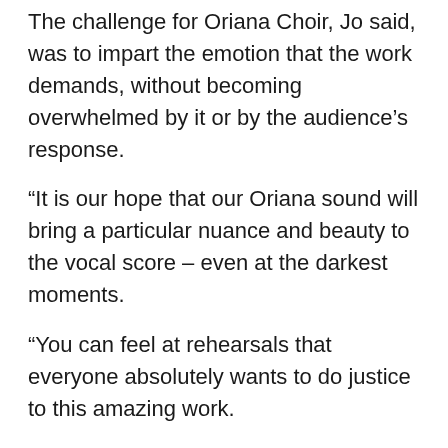The challenge for Oriana Choir, Jo said, was to impart the emotion that the work demands, without becoming overwhelmed by it or by the audience's response.
“It is our hope that our Oriana sound will bring a particular nuance and beauty to the vocal score – even at the darkest moments.
“You can feel at rehearsals that everyone absolutely wants to do justice to this amazing work.
“It means something different to each of us as we draw on personal and family memories. It is something very close to the heart, and that is where we will sing it from."
In many years of choral singing, John Robertson has not been as moved viscerally as he has in preparing for this performance.